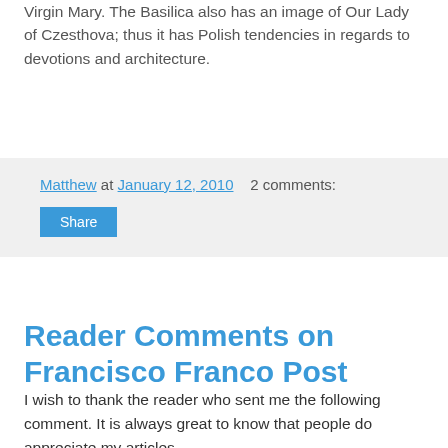Virgin Mary. The Basilica also has an image of Our Lady of Czesthova; thus it has Polish tendencies in regards to devotions and architecture.
Matthew at January 12, 2010   2 comments:
Share
Sunday, January 10, 2010
Reader Comments on Francisco Franco Post
I wish to thank the reader who sent me the following comment. It is always great to know that people do appreciate my articles.
Hey Matthew,
I came across your blog while doing a little reading on General Francisco Franco. I would